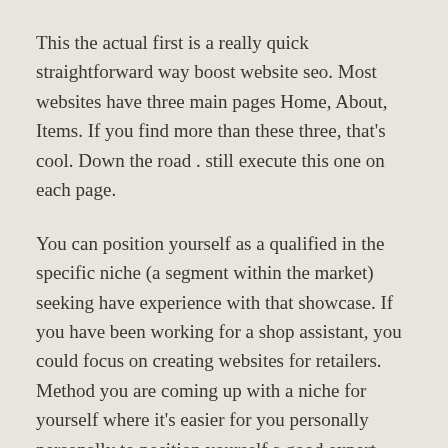This the actual first is a really quick straightforward way boost website seo. Most websites have three main pages Home, About, Items. If you find more than these three, that's cool. Down the road . still execute this one on each page.
You can position yourself as a qualified in the specific niche (a segment within the market) seeking have experience with that showcase. If you have been working for a shop assistant, you could focus on creating websites for retailers. Method you are coming up with a niche for yourself where it's easier for you personally personally to position yourself a good expert. Their long cost will have the ability to command higher price.
Keep your dentist website quick and easy to work. The last thing your visitors want figure out is a "LOADING. " bar. Take into account that your on with the visitors might be